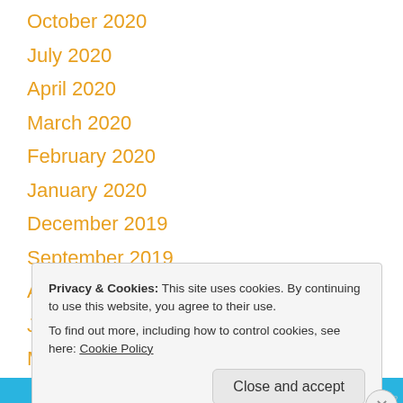October 2020
July 2020
April 2020
March 2020
February 2020
January 2020
December 2019
September 2019
August 2019
July 2019
May 2019
Privacy & Cookies: This site uses cookies. By continuing to use this website, you agree to their use.
To find out more, including how to control cookies, see here: Cookie Policy
Close and accept